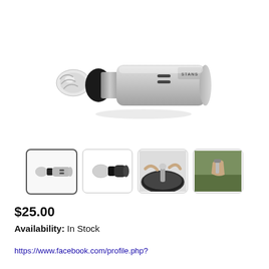[Figure (photo): Stan's tubeless valve product photo - silver cylindrical valve with black rubber base and clear tip, displayed on white background]
[Figure (photo): Four product thumbnail images: 1) valve product shot, 2) valve close-up black and white, 3) installation on tire, 4) hands installing valve]
$25.00
Availability: In Stock
https://www.facebook.com/profile.php?